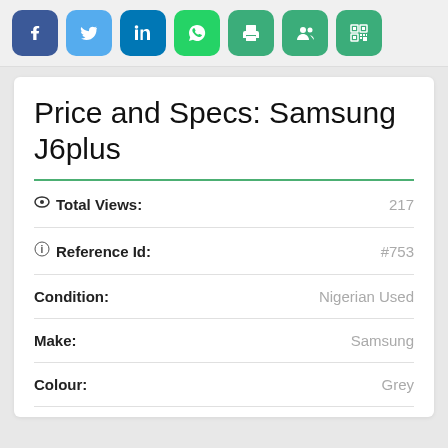[Figure (infographic): Row of social share and action buttons: Facebook (blue), Twitter (light blue), LinkedIn (dark blue), WhatsApp (green), Print (green), Users/Share (green), QR code (green)]
Price and Specs: Samsung J6plus
| Field | Value |
| --- | --- |
| Total Views: | 217 |
| Reference Id: | #753 |
| Condition: | Nigerian Used |
| Make: | Samsung |
| Colour: | Grey |